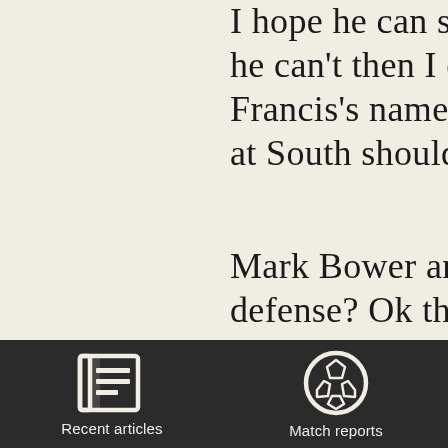I hope he can sign for [us] but if he can't then I drew Simon Francis's name on the sheet as often at Southe[rn] should do… Mark Bower and Matt [in] central defense? Ok th[en] Heckingbottom? Sure[,] enough if the players a[re] are good enough and m[ore]
[Figure (infographic): App navigation footer bar with two icons: a newspaper icon labeled 'Recent articles' and a soccer ball icon labeled 'Match reports', on a dark background.]